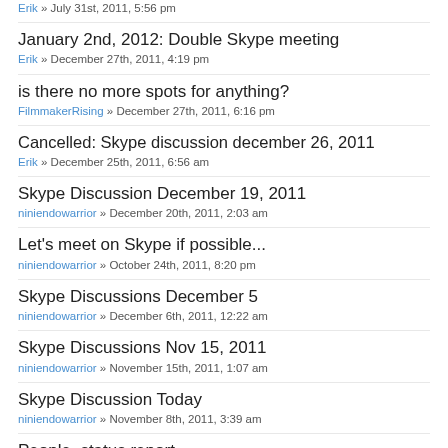Erik » July 31st, 2011, 5:56 pm
January 2nd, 2012: Double Skype meeting
Erik » December 27th, 2011, 4:19 pm
is there no more spots for anything?
FilmmakerRising » December 27th, 2011, 6:16 pm
Cancelled: Skype discussion december 26, 2011
Erik » December 25th, 2011, 6:56 am
Skype Discussion December 19, 2011
niniendowarrior » December 20th, 2011, 2:03 am
Let's meet on Skype if possible...
niniendowarrior » October 24th, 2011, 8:20 pm
Skype Discussions December 5
niniendowarrior » December 6th, 2011, 12:22 am
Skype Discussions Nov 15, 2011
niniendowarrior » November 15th, 2011, 1:07 am
Skype Discussion Today
niniendowarrior » November 8th, 2011, 3:39 am
People, status report
niniendowarrior » October 18th, 2011, 4:23 am